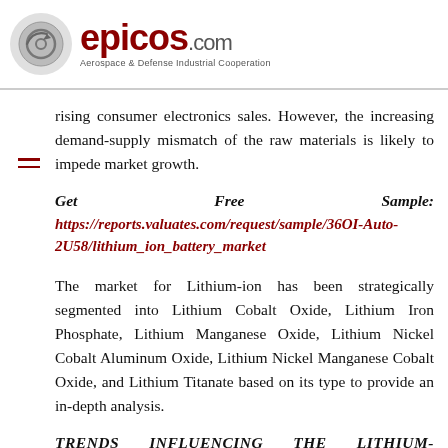epicos.com — Aerospace & Defense Industrial Cooperation
rising consumer electronics sales. However, the increasing demand-supply mismatch of the raw materials is likely to impede market growth.
Get Free Sample: https://reports.valuates.com/request/sample/36OI-Auto-2U58/lithium_ion_battery_market
The market for Lithium-ion has been strategically segmented into Lithium Cobalt Oxide, Lithium Iron Phosphate, Lithium Manganese Oxide, Lithium Nickel Cobalt Aluminum Oxide, Lithium Nickel Manganese Cobalt Oxide, and Lithium Titanate based on its type to provide an in-depth analysis.
TRENDS INFLUENCING THE LITHIUM-ION